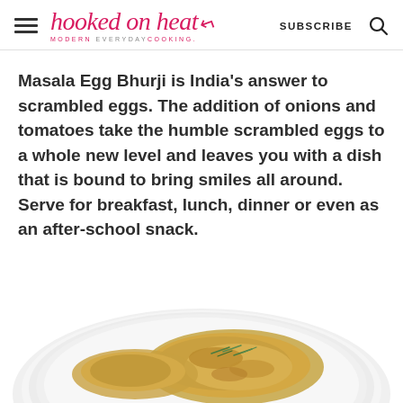hooked on heat — MODERN EVERYDAY COOKING — SUBSCRIBE
Masala Egg Bhurji is India's answer to scrambled eggs. The addition of onions and tomatoes take the humble scrambled eggs to a whole new level and leaves you with a dish that is bound to bring smiles all around. Serve for breakfast, lunch, dinner or even as an after-school snack.
[Figure (photo): A white plate with golden-brown egg bhurji (masala scrambled eggs) garnished with green coriander leaves, partially visible at the bottom of the page.]